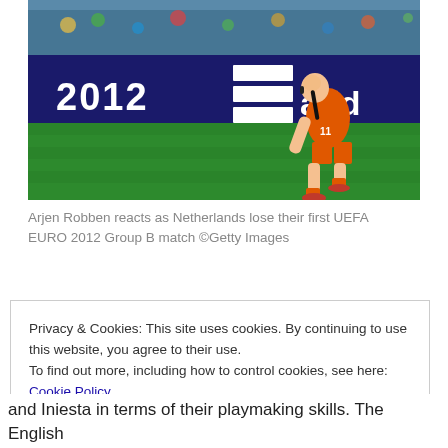[Figure (photo): Arjen Robben in orange Netherlands kit bending down on a green football pitch, with UEFA EURO 2012 and adidas signage visible in the background]
Arjen Robben reacts as Netherlands lose their first UEFA EURO 2012 Group B match ©Getty Images
Privacy & Cookies: This site uses cookies. By continuing to use this website, you agree to their use. To find out more, including how to control cookies, see here: Cookie Policy
and Iniesta in terms of their playmaking skills. The English